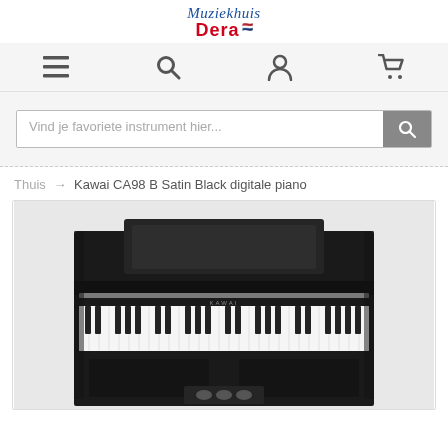[Figure (logo): Muziekhuis Dera logo with stylized italic text and red bold 'Dera' name with Dutch flag icon]
[Figure (infographic): Navigation bar with four icons: hamburger menu, search magnifying glass, user/account person icon, shopping cart icon]
[Figure (infographic): Search bar with placeholder text 'Vind je favoriete instrument hier...' and a grey search button]
Thuis → Kawai CA98 B Satin Black digitale piano
[Figure (photo): Photo of a Kawai CA98 B Satin Black digital piano, upright style with music stand, black keys and white keys visible, dark matte black finish]